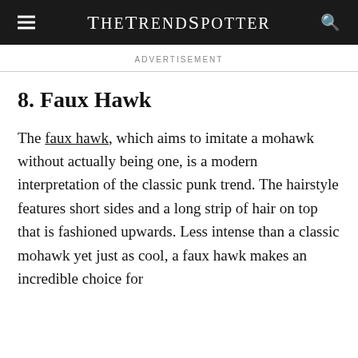TheTrendSpotter
ADVERTISEMENT
8. Faux Hawk
The faux hawk, which aims to imitate a mohawk without actually being one, is a modern interpretation of the classic punk trend. The hairstyle features short sides and a long strip of hair on top that is fashioned upwards. Less intense than a classic mohawk yet just as cool, a faux hawk makes an incredible choice for